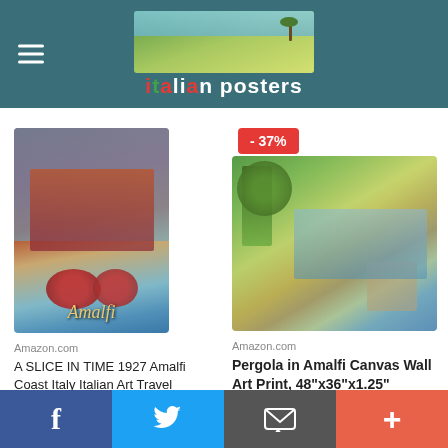italian posters
[Figure (photo): Amalfi coast vintage travel poster 1927 - A Slice in Time product image]
Amazon.com
A SLICE IN TIME 1927 Amalfi Coast Italy Italian Art Travel Vintage...
$11.99
[Figure (photo): Pergola in Amalfi canvas wall art print product image with -37% discount badge]
Amazon.com
Pergola in Amalfi Canvas Wall Art Print, 48"x36"x1.25"
$199.99 $319.99
f  (Twitter bird)  (email icon)  +